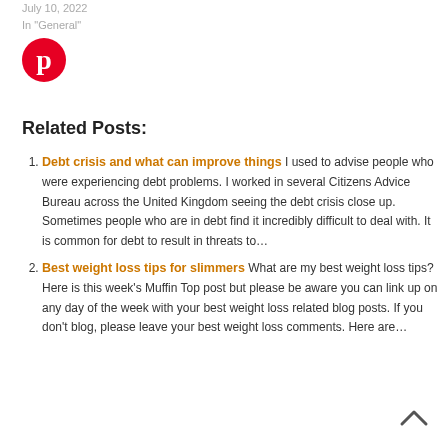July 10, 2022
In "General"
[Figure (logo): Pinterest logo - red circle with white P letter]
Related Posts:
Debt crisis and what can improve things I used to advise people who were experiencing debt problems. I worked in several Citizens Advice Bureau across the United Kingdom seeing the debt crisis close up. Sometimes people who are in debt find it incredibly difficult to deal with. It is common for debt to result in threats to…
Best weight loss tips for slimmers What are my best weight loss tips?  Here is this week's Muffin Top post but please be aware you can link up on any day of the week with your best weight loss related blog posts. If you don't blog, please leave your best weight loss comments. Here are…